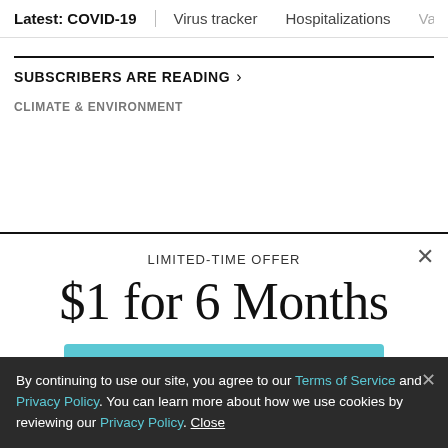Latest: COVID-19 | Virus tracker | Hospitalizations | Vacci
SUBSCRIBERS ARE READING >
CLIMATE & ENVIRONMENT
LIMITED-TIME OFFER
$1 for 6 Months
SUBSCRIBE NOW
By continuing to use our site, you agree to our Terms of Service and Privacy Policy. You can learn more about how we use cookies by reviewing our Privacy Policy. Close